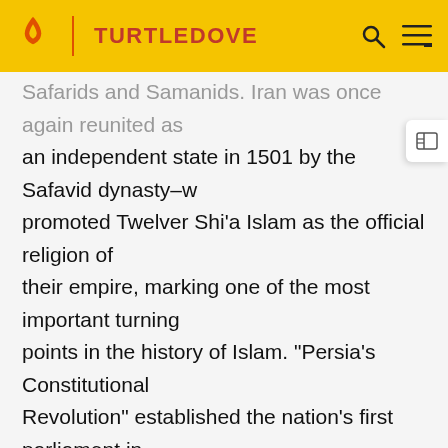TURTLEDOVE
Safarids and Samanids. Iran was once again reunited as an independent state in 1501 by the Safavid dynasty–who promoted Twelver Shi'a Islam as the official religion of their empire, marking one of the most important turning points in the history of Islam. "Persia's Constitutional Revolution" established the nation's first parliament in 1906, within a constitutional monarchy. Iran officially became an Islamic republic on 1 April 1979, following the Iranian Revolution.
The political system of Iran, based on the 1979 Constitution, comprises several intricately connected governing bodies. The highest state authority is the Supreme Leader, sometimes referred to in international media by the half-accurate title Grand Ayatollah. Shia